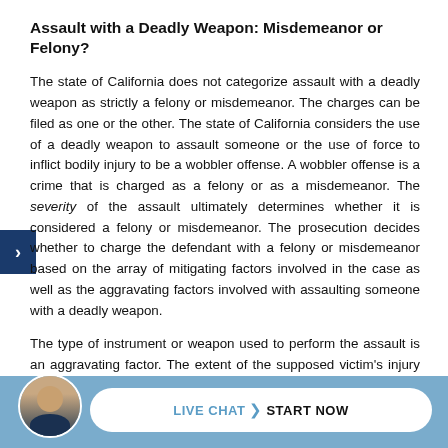Assault with a Deadly Weapon: Misdemeanor or Felony?
The state of California does not categorize assault with a deadly weapon as strictly a felony or misdemeanor. The charges can be filed as one or the other. The state of California considers the use of a deadly weapon to assault someone or the use of force to inflict bodily injury to be a wobbler offense. A wobbler offense is a crime that is charged as a felony or as a misdemeanor. The severity of the assault ultimately determines whether it is considered a felony or misdemeanor. The prosecution decides whether to charge the defendant with a felony or misdemeanor based on the array of mitigating factors involved in the case as well as the aggravating factors involved with assaulting someone with a deadly weapon.
The type of instrument or weapon used to perform the assault is an aggravating factor. The extent of the supposed victim's injury is an in...idual's